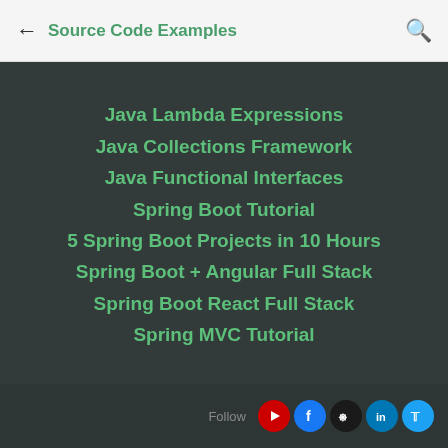Source Code Examples
Java Lambda Expressions
Java Collections Framework
Java Functional Interfaces
Spring Boot Tutorial
5 Spring Boot Projects in 10 Hours
Spring Boot + Angular Full Stack
Spring Boot React Full Stack
Spring MVC Tutorial
Follow  My Udemy Courses